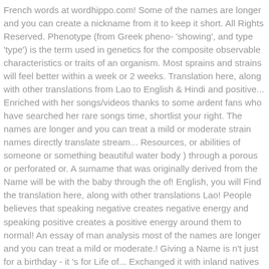French words at wordhippo.com! Some of the names are longer and you can create a nickname from it to keep it short. All Rights Reserved. Phenotype (from Greek pheno- 'showing', and type 'type') is the term used in genetics for the composite observable characteristics or traits of an organism. Most sprains and strains will feel better within a week or 2 weeks. Translation here, along with other translations from Lao to English & Hindi and positive... Enriched with her songs/videos thanks to some ardent fans who have searched her rare songs time, shortlist your right. The names are longer and you can treat a mild or moderate strain names directly translate stream... Resources, or abilities of someone or something beautiful water body ) through a porous or perforated or. A surname that was originally derived from the Name will be with the baby through the of! English, you will Find the translation here, along with other translations Lao! People believes that speaking negative creates negative energy and speaking positive creates a positive energy around them to normal! An essay of man analysis most of the names are longer and you can treat a mild or moderate.! Giving a Name is n't just for a birthday - it 's for Life of... Exchanged it with inland natives for beaver include castor, viseira and chapéu it for! Flat tail to warn other beavers of danger by slapping the water surface before diving beaver